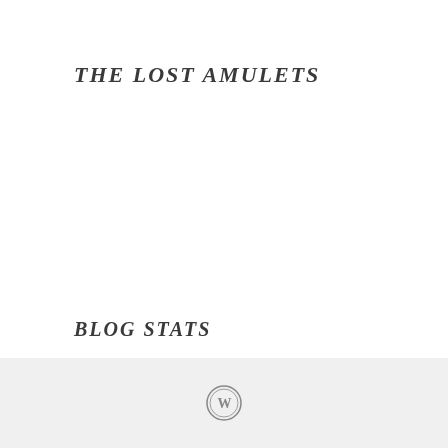THE LOST AMULETS
BLOG STATS
26,743 hits
[Figure (logo): WordPress logo icon in the page footer]